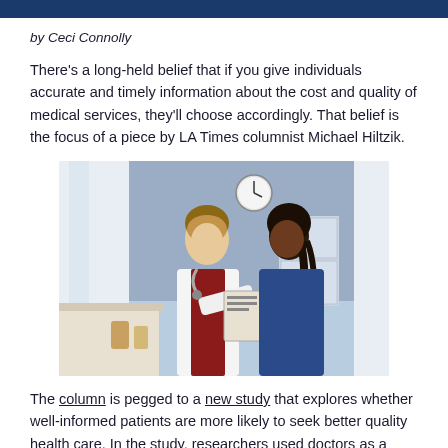by Ceci Connolly
There's a long-held belief that if you give individuals accurate and timely information about the cost and quality of medical services, they'll choose accordingly. That belief is the focus of a piece by LA Times columnist Michael Hiltzik.
[Figure (photo): A female doctor in a white coat with a stethoscope reviewing a document on a clipboard with a female patient in a blue shirt, in a medical office setting with blue walls and a clock in the background.]
The column is pegged to a new study that explores whether well-informed patients are more likely to seek better quality health care. In the study, researchers used doctors as a stand-in for highly-educated patients. The study then examined treatments received by both doctors as well as by non-physician patients –